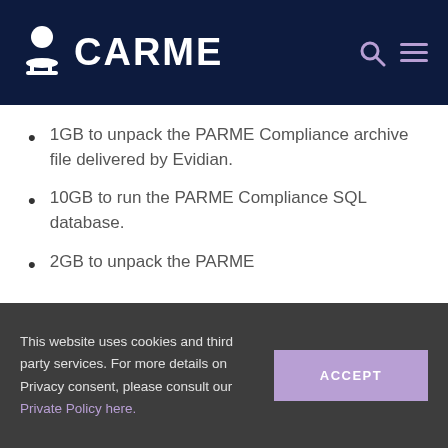CARME
1GB to unpack the PARME Compliance archive file delivered by Evidian.
10GB to run the PARME Compliance SQL database.
2GB to unpack the PARME
This website uses cookies and third party services. For more details on Privacy consent, please consult our Private Policy here.